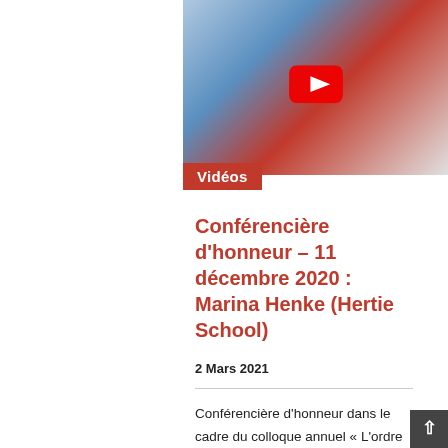[Figure (screenshot): YouTube video thumbnail showing a woman on a red background with blue elements, with a YouTube play button overlay]
Vidéos
Conférencière d'honneur – 11 décembre 2020 : Marina Henke (Hertie School)
2 Mars 2021
Conférencière d'honneur dans le cadre du colloque annuel « L'ordre international fracturé : Conséquences pour la défense du Canada »,...